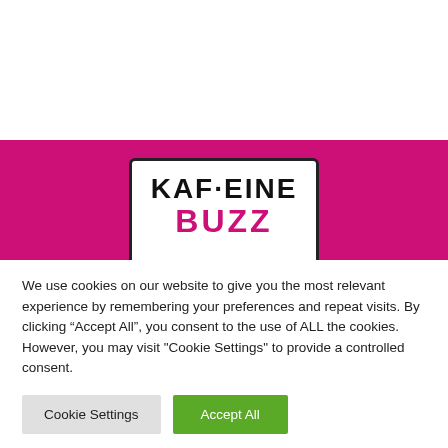[Figure (logo): Kaffeine Buzz logo on white card over magenta background. The logo shows 'KAFFEINE' in bold black uppercase letters and 'BUZZ' in bold magenta/pink uppercase letters, on a white rounded-rectangle card with black border.]
We use cookies on our website to give you the most relevant experience by remembering your preferences and repeat visits. By clicking “Accept All”, you consent to the use of ALL the cookies. However, you may visit "Cookie Settings" to provide a controlled consent.
Cookie Settings
Accept All